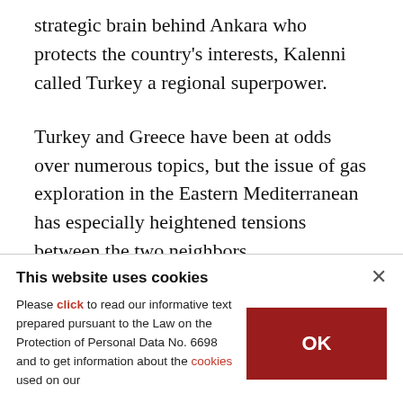strategic brain behind Ankara who protects the country's interests, Kalenni called Turkey a regional superpower.
Turkey and Greece have been at odds over numerous topics, but the issue of gas exploration in the Eastern Mediterranean has especially heightened tensions between the two neighbors.
Greece seeks to block Turkey's exploration of energy resources in the region, which Ankara says
This website uses cookies
Please click to read our informative text prepared pursuant to the Law on the Protection of Personal Data No. 6698 and to get information about the cookies used on our